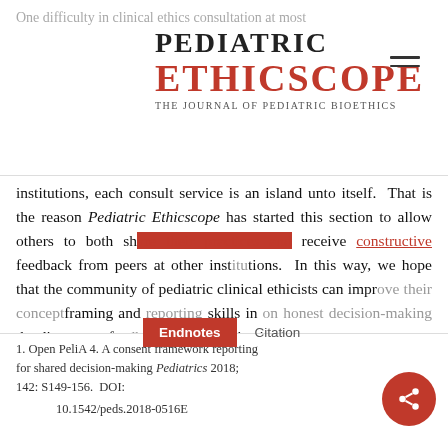PEDIATRIC ETHICSCOPE — The Journal of Pediatric Bioethics
One difficulty in clinical ethics consultation at most institutions, each consult service is an island unto itself. That is the reason Pediatric Ethicscope has started this section to allow others to both share their practices and receive constructive feedback from peers at other institutions. In this way, we hope that the community of pediatric clinical ethicists can improve their conceptframing and reporting skills in an honest decision-making the direct peer feedback; any given institution
1. Open PeliA 4. A consent framework reporting for shared decision-making Pediatrics 2018; 142: S149-156. DOI: 10.1542/peds.2018-0516E